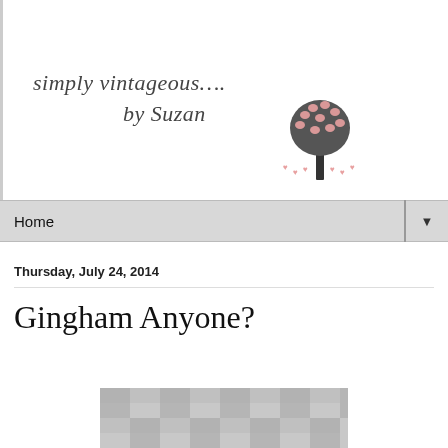simply vintageous…. by Suzan
[Figure (illustration): A decorative tree illustration with pink heart-shaped blossoms and small heart symbols around the base]
Home
Thursday, July 24, 2014
Gingham Anyone?
[Figure (photo): A partially visible photograph showing a gingham or checkered pattern fabric in grey/white tones]